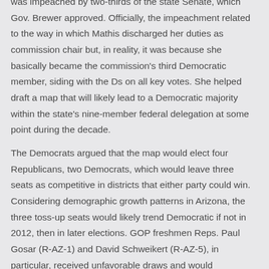was impeached by two-thirds of the state Senate, which Gov. Brewer approved. Officially, the impeachment related to the way in which Mathis discharged her duties as commission chair but, in reality, it was because she basically became the commission's third Democratic member, siding with the Ds on all key votes. She helped draft a map that will likely lead to a Democratic majority within the state's nine-member federal delegation at some point during the decade.
The Democrats argued that the map would elect four Republicans, two Democrats, which would leave three seats as competitive in districts that either party could win. Considering demographic growth patterns in Arizona, the three toss-up seats would likely trend Democratic if not in 2012, then in later elections. GOP freshmen Reps. Paul Gosar (R-AZ-1) and David Schweikert (R-AZ-5), in particular, received unfavorable draws and would